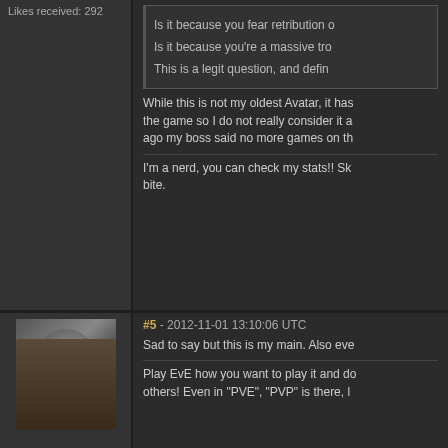Likes received: 292
Is it because you fear retribution o
Is it because you're a massive tro
This is a legit question, and defin
While this is not my oldest Avatar, it has the game so I do not really consider it a ago my boss said no more games on th
I'm a nerd, you can check my stats!! Sk bite.
#5 - 2012-11-01 13:10:06 UTC
Sad to say but this is my main. Also eve
Play EvE how you want to play it and do others! Even in "PVE", "PVP" is there, l